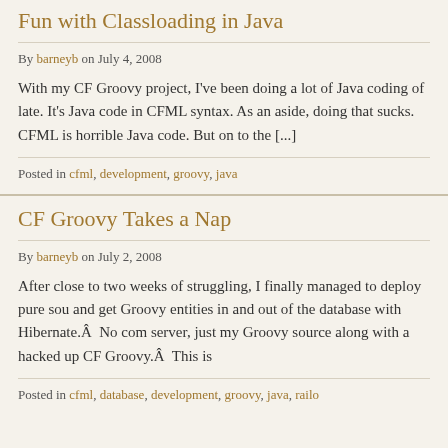Fun with Classloading in Java
By barneyb on July 4, 2008
With my CF Groovy project, I've been doing a lot of Java coding of late. It's Java code in CFML syntax. As an aside, doing that sucks. CFML is horrible Java code. But on to the [...]
Posted in cfml, development, groovy, java
CF Groovy Takes a Nap
By barneyb on July 2, 2008
After close to two weeks of struggling, I finally managed to deploy pure sou and get Groovy entities in and out of the database with Hibernate.Â No com server, just my Groovy source along with a hacked up CF Groovy.Â This is
Posted in cfml, database, development, groovy, java, railo